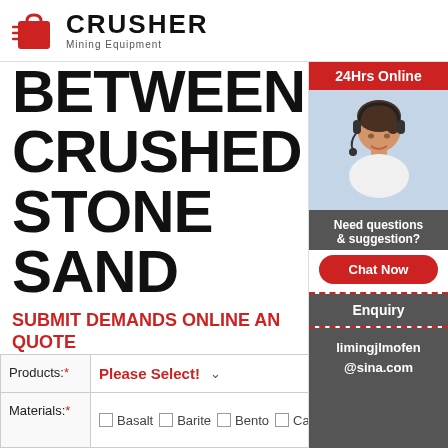[Figure (logo): Crusher Mining Equipment logo with red shopping bag icon and bold CRUSHER text]
BETWEEN CRUSHED STONE SAND
SUBMIT DEMANDS ONLINE AND GET QUOTE
Please fill in your name and your message and do not forget email and/or phone if you like to be contacted. Please note that you need to have a mail programme to use this function.
| Products:* | Please Select! |
| --- | --- |
| Materials:* | Basalt   Barite   Bento...
Calcite   Coal   Copp... |
[Figure (photo): Woman with headset smiling, customer service representative, with 24Hrs Online banner, Need questions & suggestion panel, Chat Now button, Enquiry section, and limingjlmofen@sina.com email]